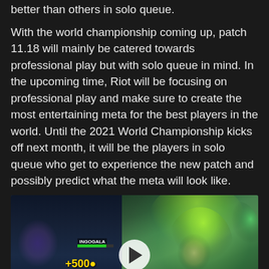better than others in solo queue.
With the world championship coming up, patch 11.18 will mainly be catered towards professional play but with solo queue in mind. In the upcoming time, Riot will be focusing on professional play and make sure to create the most entertaining meta for the best players in the world. Until the 2021 World Championship kicks off next month, it will be the players in solo queue who get to experience the new patch and possibly predict what the meta will look like.
[Figure (screenshot): A League of Legends gameplay screenshot showing in-game HUD elements including player names (INGOGALA, RNGClearlor), gold amounts (+500, +50), health bars, and a score display (15, 1179), overlaid with a champion artwork of a female champion with green/yellow hair and glowing effects. A play button is visible in the center indicating this is a video thumbnail.]